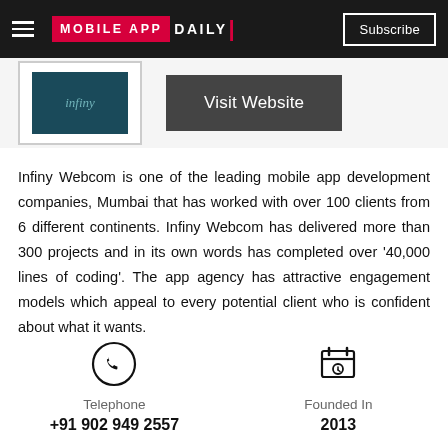MOBILE APP DAILY | Subscribe
[Figure (logo): Infiny Webcom company logo with teal/dark background and stylized text]
Infiny Webcom is one of the leading mobile app development companies, Mumbai that has worked with over 100 clients from 6 different continents. Infiny Webcom has delivered more than 300 projects and in its own words has completed over ‘40,000 lines of coding’. The app agency has attractive engagement models which appeal to every potential client who is confident about what it wants.
Telephone
+91 902 949 2557
Founded In
2013